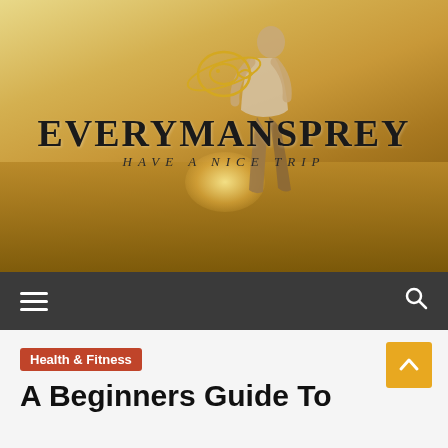[Figure (photo): Website header/banner image showing a man walking through a golden field at sunset, seen from behind. Overlaid with the site logo 'EVERYMANSPREY' and tagline 'HAVE A NICE TRIP' with a circular fish icon above.]
EVERYMANSPREY — HAVE A NICE TRIP
Health & Fitness
A Beginners Guide To